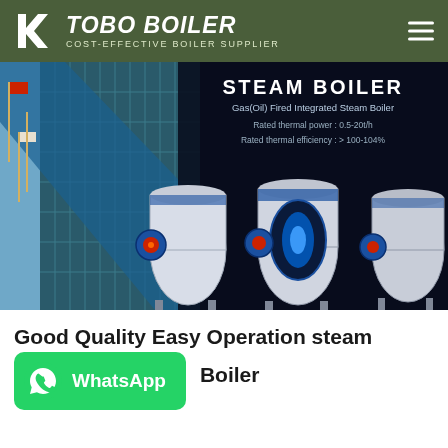TOBO BOILER - COST-EFFECTIVE BOILER SUPPLIER
[Figure (photo): Steam boiler product banner showing industrial boiler machines on dark background with building exterior on left side. Text overlay reads: STEAM BOILER, Gas(Oil) Fired Integrated Steam Boiler, Rated thermal power: 0.5-20t/h, Rated thermal efficiency: > 100-104%]
Good Quality Easy Operation steam Boiler
[Figure (logo): WhatsApp button - green rounded rectangle with WhatsApp icon and text 'WhatsApp']